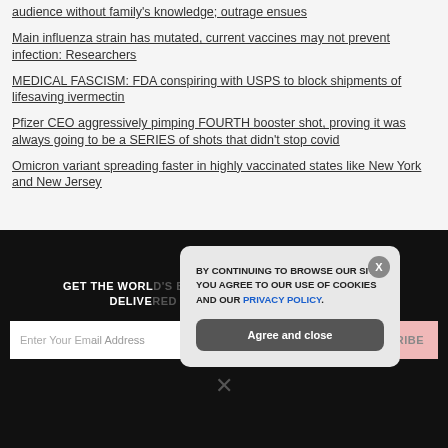audience without family's knowledge; outrage ensues
Main influenza strain has mutated, current vaccines may not prevent infection: Researchers
MEDICAL FASCISM: FDA conspiring with USPS to block shipments of lifesaving ivermectin
Pfizer CEO aggressively pimping FOURTH booster shot, proving it was always going to be a SERIES of shots that didn't stop covid
Omicron variant spreading faster in highly vaccinated states like New York and New Jersey
[Figure (screenshot): Newsletter signup section on dark background with email input field and SUBSCRIBE button, overlaid by a cookie consent popup dialog reading 'BY CONTINUING TO BROWSE OUR SITE YOU AGREE TO OUR USE OF COOKIES AND OUR PRIVACY POLICY.' with 'Agree and close' button and X close button]